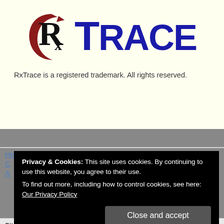[Figure (logo): RxTrace logo: stylized Rx symbol with dark red crescent/arrow arc, and 'TRACE' in large bold blue text]
RxTrace is a registered trademark. All rights reserved.
Home
Privacy & Cookies: This site uses cookies. By continuing to use this website, you agree to their use.
To find out more, including how to control cookies, see here: Our Privacy Policy
Close and accept
Site Search